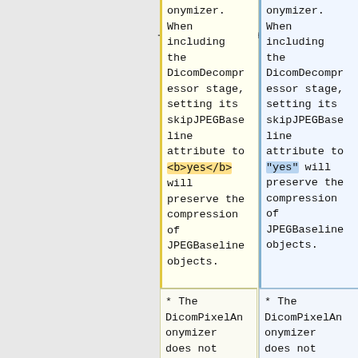onymizer. When including the DicomDecompressor stage, setting its skipJPEGBaseline attribute to <b>yes</b> will preserve the compression of JPEGBaseline objects.
onymizer. When including the DicomDecompressor stage, setting its skipJPEGBaseline attribute to "yes" will preserve the compression of JPEGBaseline objects.
* The DicomPixelAnonymizer does not
* The DicomPixelAnonymizer does not